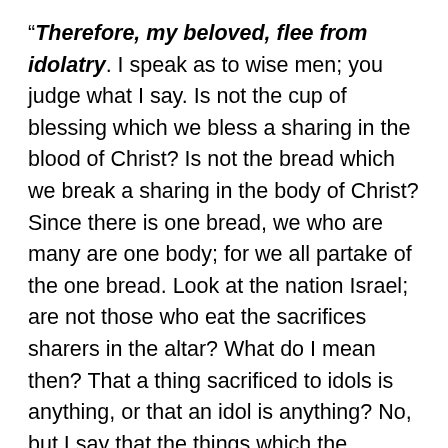“Therefore, my beloved, flee from idolatry.  I speak as to wise men;  you judge what I say.  Is not the cup of blessing which we bless a sharing in the blood of Christ?  Is not the bread which we break a sharing in the body of Christ?  Since there is one bread, we who are many are one body;  for we all partake of the one bread.  Look at the nation Israel;  are not those who eat the sacrifices sharers in the altar?  What do I mean then?  That a thing sacrificed to idols is anything, or that an idol is anything?  No, but I say that the things which the Gentiles sacrifice, they sacrifice to demons and not to God;  and I do not want you to become sharers in demons.  You cannot drink the cup of the Lord and the cup of demons;  you cannot partake of the table of the Lord and the table of demons.  Or do we provoke the Lord to jealousy?  We are not stronger than He, are we?”  1 Corinthians 10:14-22